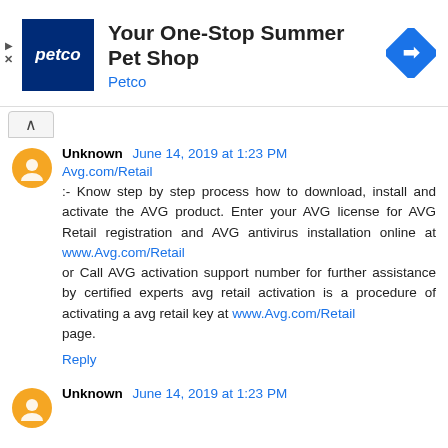[Figure (other): Petco advertisement banner with logo, title 'Your One-Stop Summer Pet Shop', subtitle 'Petco', and a blue navigation icon on the right. Play and close controls on the left.]
Unknown June 14, 2019 at 1:23 PM
Avg.com/Retail
:- Know step by step process how to download, install and activate the AVG product. Enter your AVG license for AVG Retail registration and AVG antivirus installation online at www.Avg.com/Retail or Call AVG activation support number for further assistance by certified experts avg retail activation is a procedure of activating a avg retail key at www.Avg.com/Retail page.
Reply
Unknown June 14, 2019 at 1:23 PM